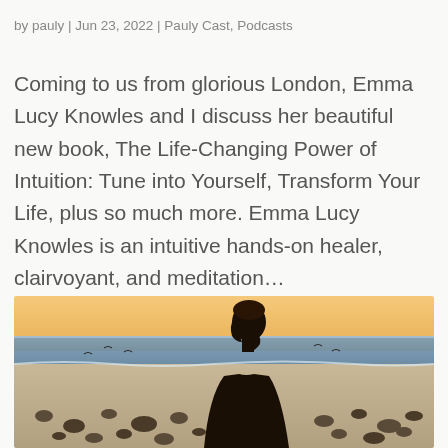by pauly | Jun 23, 2022 | Pauly Cast, Podcasts
Coming to us from glorious London, Emma Lucy Knowles and I discuss her beautiful new book, The Life-Changing Power of Intuition: Tune into Yourself, Transform Your Life, plus so much more. Emma Lucy Knowles is an intuitive hands-on healer, clairvoyant, and meditation…
[Figure (photo): A person shown in side profile on a beach at sunset, with the ocean and golden sky in the background. Rocks and birds are visible on the beach sand.]